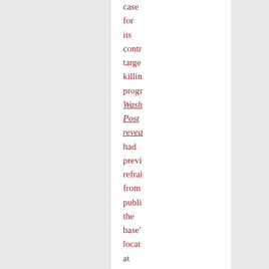case for its contr targe killin progr Wash Post revea had previ refra from publi the base' locat at the behe of the